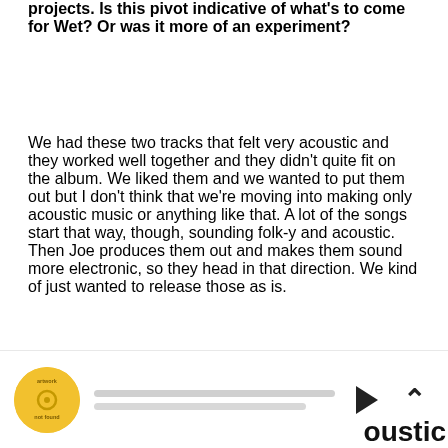projects. Is this pivot indicative of what's to come for Wet? Or was it more of an experiment?
We had these two tracks that felt very acoustic and they worked well together and they didn't quite fit on the album. We liked them and we wanted to put them out but I don't think that we're moving into making only acoustic music or anything like that. A lot of the songs start that way, though, sounding folk-y and acoustic. Then Joe produces them out and makes them sound more electronic, so they head in that direction. We kind of just wanted to release those as is.
[Figure (other): Audio player bar with circular yellow album art labeled 'artwork not found', two grey progress bars, a play button (triangle), and an upward chevron control. Partially visible text 'oustic' appears at bottom right.]